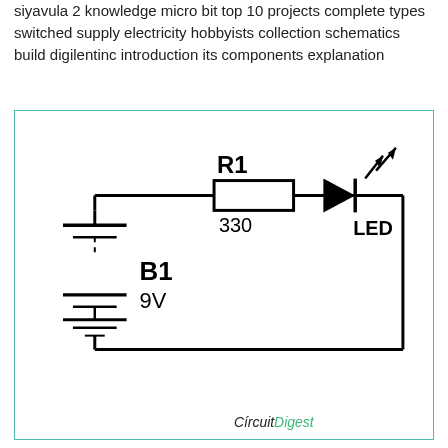siyavula 2 knowledge micro bit top 10 projects complete types switched supply electricity hobbyists collection schematics build digilentinc introduction its components explanation
[Figure (circuit-diagram): Simple LED circuit schematic showing a 9V battery (B1) connected in series with a 330-ohm resistor (R1) and an LED. The battery symbol shows stacked horizontal lines with dashed connection lines. The resistor is shown as a rectangle labeled R1/330. The LED is shown as a triangle/diode symbol with emission arrows, labeled LED. Components connected by wires forming a rectangular loop.]